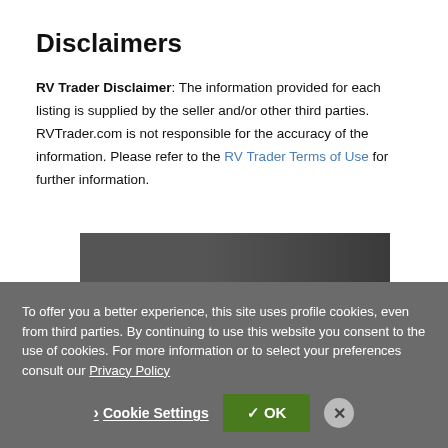Disclaimers
RV Trader Disclaimer: The information provided for each listing is supplied by the seller and/or other third parties. RVTrader.com is not responsible for the accuracy of the information. Please refer to the RV Trader Terms of Use for further information.
[Figure (photo): Advertisement banner showing 'BUY YOUR NEXT MOTORCYCLE' text in white bold uppercase letters over a dark background with a motorcycle silhouette]
To offer you a better experience, this site uses profile cookies, even from third parties. By continuing to use this website you consent to the use of cookies. For more information or to select your preferences consult our Privacy Policy